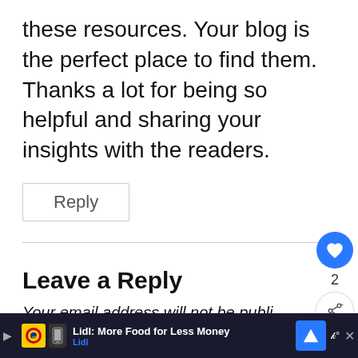these resources. Your blog is the perfect place to find them. Thanks a lot for being so helpful and sharing your insights with the readers.
Reply
Leave a Reply
Your email address will not be published.
Lidl: More Food for Less Money
Lidl